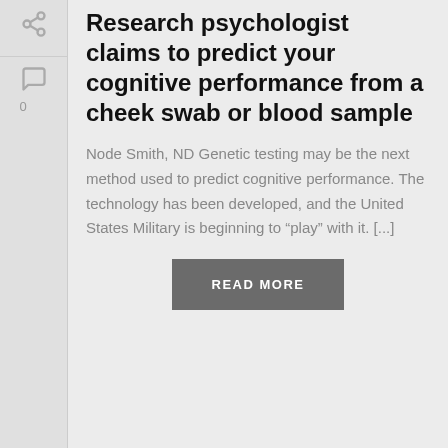[Figure (other): Share icon (network/share symbol) in sidebar]
[Figure (other): Comment/chat bubble icon with count 0 below it in sidebar]
Research psychologist claims to predict your cognitive performance from a cheek swab or blood sample
Node Smith, ND Genetic testing may be the next method used to predict cognitive performance. The technology has been developed, and the United States Military is beginning to “play” with it. [...]
READ MORE